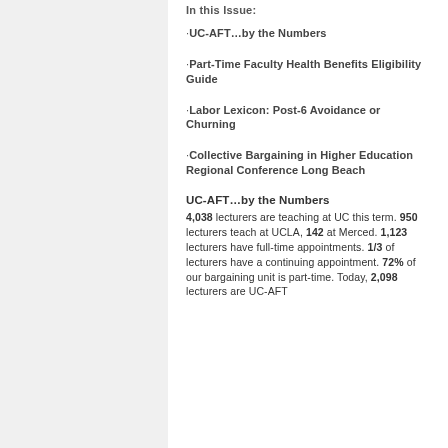In this Issue:
·UC-AFT…by the Numbers
·Part-Time Faculty Health Benefits Eligibility Guide
·Labor Lexicon: Post-6 Avoidance or Churning
·Collective Bargaining in Higher Education Regional Conference Long Beach
UC-AFT…by the Numbers
4,038 lecturers are teaching at UC this term. 950 lecturers teach at UCLA, 142 at Merced. 1,123 lecturers have full-time appointments. 1/3 of lecturers have a continuing appointment. 72% of our bargaining unit is part-time. Today, 2,098 lecturers are UC-AFT